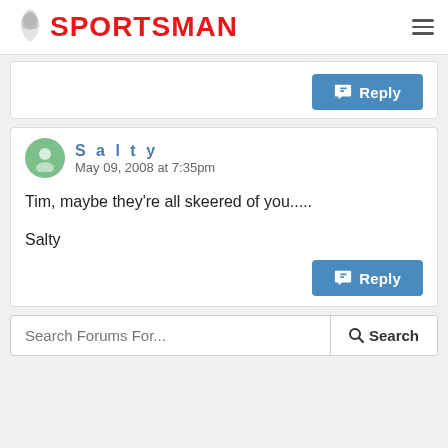SPORTSMAN
[Figure (other): Reply button for previous comment]
Salty
May 09, 2008 at 7:35pm

Tim, maybe they're all skeered of you.....

Salty
[Figure (other): Reply button for Salty comment]
Search Forums For...